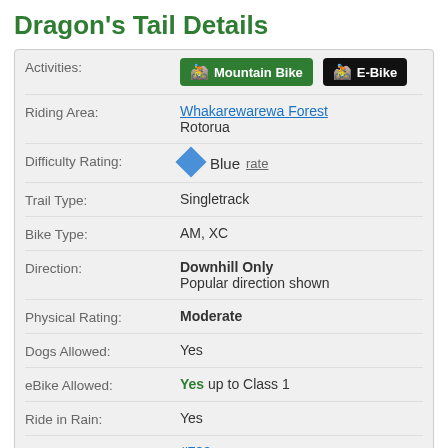Dragon's Tail Details
| Field | Value |
| --- | --- |
| Activities: | Mountain Bike  E-Bike |
| Riding Area: | Whakarewarewa Forest
Rotorua |
| Difficulty Rating: | Blue  rate |
| Trail Type: | Singletrack |
| Bike Type: | AM, XC |
| Direction: | Downhill Only
Popular direction shown |
| Physical Rating: | Moderate |
| Dogs Allowed: | Yes |
| eBike Allowed: | Yes up to Class 1 |
| Ride in Rain: | Yes |
| Global Ranking: | #789 in Mountain Biking [+] |
| Local Popularity: | 90 in Mountain Biking [+] |